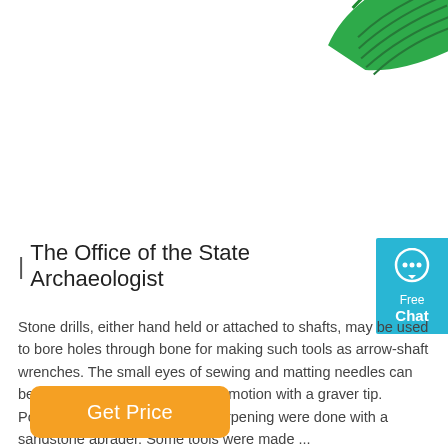[Figure (photo): Green handled tool (appears to be a knife or similar implement) photographed against white background, handle visible in upper right corner.]
[Figure (infographic): Blue chat widget button showing speech bubble icon with 'Free Chat' text in white.]
| The Office of the State Archaeologist
Stone drills, either hand held or attached to shafts, may be used to bore holes through bone for making such tools as arrow-shaft wrenches. The small eyes of sewing and matting needles can be made by a sawing or twisting motion with a graver tip. Polishing, final shaping, and sharpening were done with a sandstone abrader. Some tools were made ...
Get Price